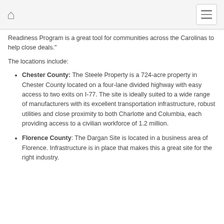Home | Menu
Readiness Program is a great tool for communities across the Carolinas to help close deals."
The locations include:
Chester County: The Steele Property is a 724-acre property in Chester County located on a four-lane divided highway with easy access to two exits on I-77. The site is ideally suited to a wide range of manufacturers with its excellent transportation infrastructure, robust utilities and close proximity to both Charlotte and Columbia, each providing access to a civilian workforce of 1.2 million.
Florence County: The Dargan Site is located in a business area of Florence. Infrastructure is in place that makes this a great site for the right industry.